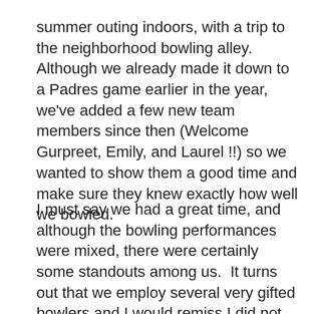summer outing indoors, with a trip to the neighborhood bowling alley.  Although we already made it down to a Padres game earlier in the year, we've added a few new team members since then (Welcome Gurpreet, Emily, and Laurel !!) so we wanted to show them a good time and make sure they knew exactly how well we bowled.
I must say we had a great time, and although the bowling performances were mixed, there were certainly some standouts among us.  It turns out that we employ several very gifted bowlers and I would remiss I did not recognize them in true gap fashion.